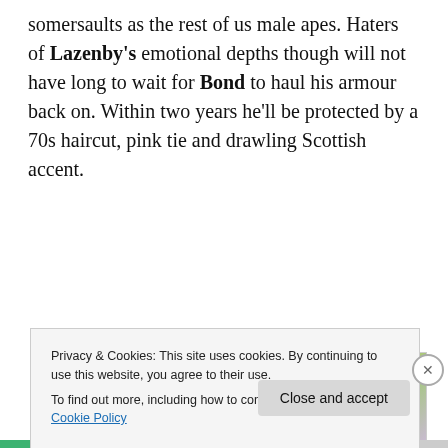somersaults as the rest of us male apes. Haters of Lazenby's emotional depths though will not have long to wait for Bond to haul his armour back on. Within two years he'll be protected by a 70s haircut, pink tie and drawling Scottish accent.
Advertisements
[Figure (illustration): Advertisement image showing overlapping cards/publications including Meta, Facebook labels, with a white circle in the center containing bold text: We're the WordPress CMS for Very Important Content]
Privacy & Cookies: This site uses cookies. By continuing to use this website, you agree to their use.
To find out more, including how to control cookies, see here: Cookie Policy
Close and accept